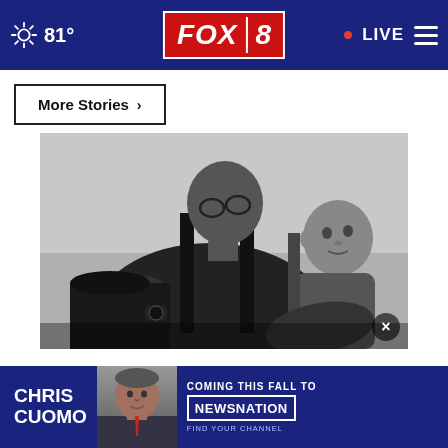81° FOX 8 LIVE
More Stories ›
[Figure (photo): Black and white photo of a man wearing glasses and an apron, cooking at a stove while carrying a baby on his back in a carrier. The baby looks directly at the camera.]
[Figure (photo): Advertisement banner: Chris Cuomo headshot photo in a blue background banner reading 'CHRIS CUOMO COMING THIS FALL TO NEWSNATION FIND YOUR CHANNEL']